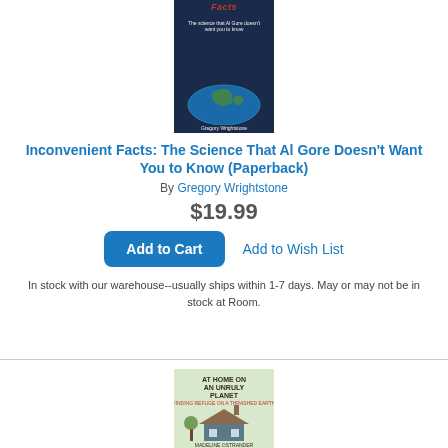[Figure (photo): Book cover of 'Inconvenient Facts: The Science That Al Gore Doesn't Want You to Know' by Gregory Wrightstone, showing Earth globe on dark background]
Inconvenient Facts: The Science That Al Gore Doesn't Want You to Know (Paperback)
By Gregory Wrightstone
$19.99
Add to Cart
Add to Wish List
In stock with our warehouse--usually ships within 1-7 days. May or may not be in stock at Room.
[Figure (photo): Book cover of 'At Home on an Unruly Planet: Finding Refuge on a Thrashed Earth' by Madeline Ostrander, showing illustrated house with trees]